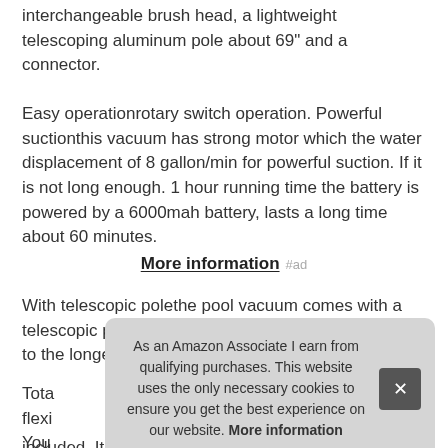interchangeable brush head, a lightweight telescoping aluminum pole about 69" and a connector.
Easy operationrotary switch operation. Powerful suctionthis vacuum has strong motor which the water displacement of 8 gallon/min for powerful suction. If it is not long enough. 1 hour running time the battery is powered by a 6000mah battery, lasts a long time about 60 minutes.
More information #ad
With telescopic polethe pool vacuum comes with a telescopic pole that has the shortest length of 33. 5" to the longest of 69", perf
Tota flexi You included. It's designed to capture a range of debris, includes
As an Amazon Associate I earn from qualifying purchases. This website uses the only necessary cookies to ensure you get the best experience on our website. More information